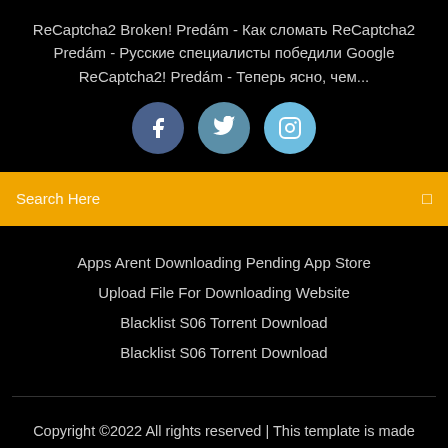ReCaptcha2 Broken! Predám - Как сломать ReCaptcha2 Predám - Русские специалисты победили Google ReCaptcha2! Predám - Теперь ясно, чем...
[Figure (illustration): Three social media icon circles: Facebook (dark blue), Twitter (medium blue), Instagram (light blue)]
Search Here
Apps Arent Downloading Pending App Store
Upload File For Downloading Website
Blacklist S06 Torrent Download
Blacklist S06 Torrent Download
Copyright ©2022 All rights reserved | This template is made with ♡ by Colorlib